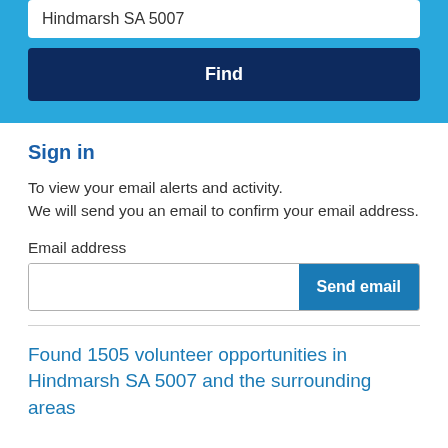Hindmarsh SA 5007
Find
Sign in
To view your email alerts and activity. We will send you an email to confirm your email address.
Email address
Send email
Found 1505 volunteer opportunities in Hindmarsh SA 5007 and the surrounding areas